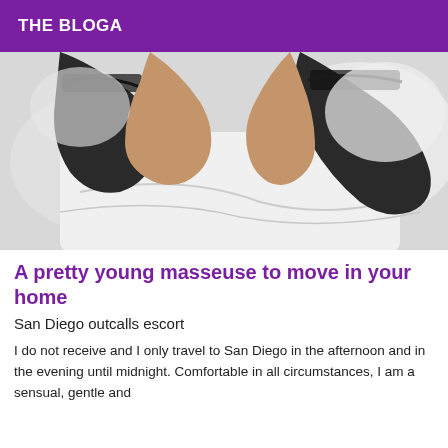THE BLOGA
[Figure (photo): Photo of a person lying on a white bed wearing dark stockings, viewed from behind/above, suggestive escort advertisement image]
A pretty young masseuse to move in your home
San Diego outcalls escort
I do not receive and I only travel to San Diego in the afternoon and in the evening until midnight. Comfortable in all circumstances, I am a sensual, gentle and